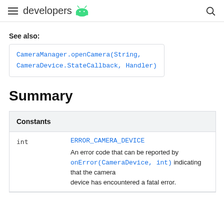developers [android logo]
See also:
CameraManager.openCamera(String, CameraDevice.StateCallback, Handler)
Summary
| Constants |
| --- |
| int |  |
|  | ERROR_CAMERA_DEVICE
An error code that can be reported by onError(CameraDevice, int) indicating that the camera device has encountered a fatal error. |
An error code that can be reported by onError(CameraDevice, int) indicating that the camera device has encountered a fatal error.